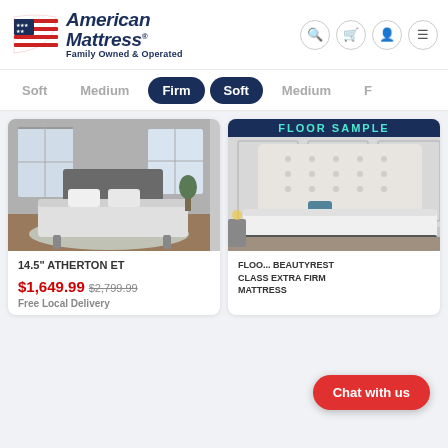[Figure (logo): American Mattress logo with American flag graphic, text 'American Mattress Family Owned & Operated']
[Figure (screenshot): Navigation filter bar showing mattress firmness options: Soft, Medium, Firm (active/dark), Soft (active/dark), Medium]
[Figure (photo): Mattress product photo: 14.5 inch Atherton ET mattress in bedroom setting with gray headboard and light rug]
14.5" ATHERTON ET
$1,649.99
$2,799.99
Free Local Delivery
[Figure (photo): Floor sample mattress photo with 'FLOOR SAMPLE' banner at top, white tufted headboard and white/dark mattress in luxury bedroom setting]
FLOOR SAMPLE BEAUTYREST CLASS EXTRA FIRM MATTRESS